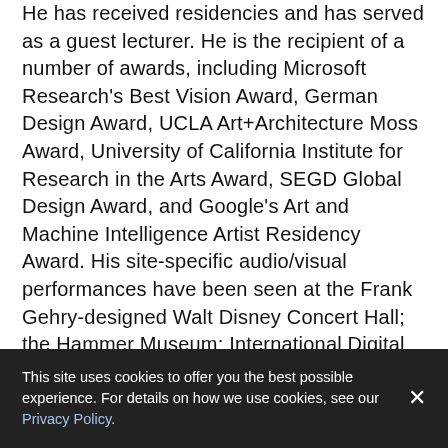He has received residencies and has served as a guest lecturer. He is the recipient of a number of awards, including Microsoft Research's Best Vision Award, German Design Award, UCLA Art+Architecture Moss Award, University of California Institute for Research in the Arts Award, SEGD Global Design Award, and Google's Art and Machine Intelligence Artist Residency Award. His site-specific audio/visual performances have been seen at the Frank Gehry-designed Walt Disney Concert Hall; the Hammer Museum; International Digital Arts Biennial Montreal (Canada); Ars Electronica Festival (Austria); l'Usine / Genève (Switzerland); Arc de Triomf (Spain); Zollverein / SANAA's School of Design Building (Germany); Santralistanbul Contemporary Art Center (Turkey); Outdoor Vision Festival, Santa Fe (New Mexico); Istanbul Design Biennial (Turkey); Sydney City Art (Australia); and
This site uses cookies to offer you the best possible experience. For details on how we use cookies, see our Privacy Policy.